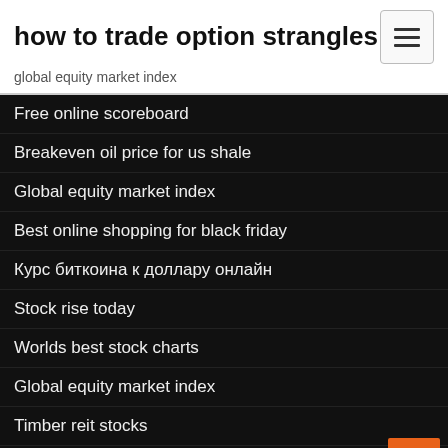how to trade option strangles
global equity market index
Free online scoreboard
Breakeven oil price for us shale
Global equity market index
Best online shopping for black friday
Курс биткоина к доллару онлайн
Stock rise today
Worlds best stock charts
Global equity market index
Timber reit stocks
Online bill payment processing time bmo